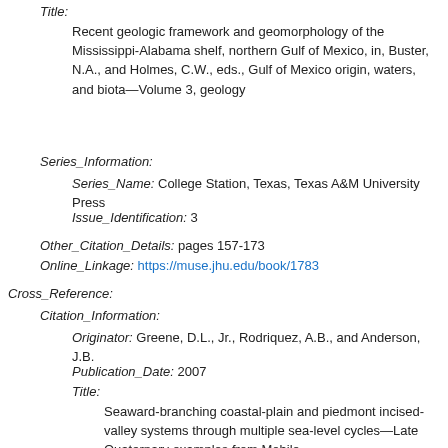Title:
Recent geologic framework and geomorphology of the Mississippi-Alabama shelf, northern Gulf of Mexico, in, Buster, N.A., and Holmes, C.W., eds., Gulf of Mexico origin, waters, and biota—Volume 3, geology
Series_Information:
Series_Name: College Station, Texas, Texas A&M University Press
Issue_Identification: 3
Other_Citation_Details: pages 157-173
Online_Linkage: https://muse.jhu.edu/book/1783
Cross_Reference:
Citation_Information:
Originator: Greene, D.L., Jr., Rodriquez, A.B., and Anderson, J.B.
Publication_Date: 2007
Title:
Seaward-branching coastal-plain and piedmont incised-valley systems through multiple sea-level cycles—Late Quaternary examples from Mobile